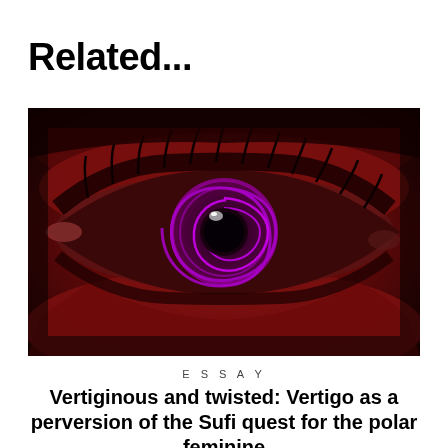Related...
[Figure (photo): Close-up photograph of a human eye with a deep red/crimson colour cast and a glowing purple spiral iris pattern in the centre.]
ESSAY
Vertiginous and twisted: Vertigo as a perversion of the Sufi quest for the polar feminine